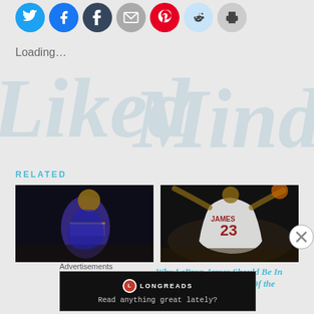[Figure (screenshot): Social media share buttons: Twitter, Facebook, Tumblr, Email, Pinterest, Reddit, Print]
Loading...
[Figure (illustration): Faint watermark background text in cursive/italic style]
RELATED
[Figure (photo): Photo of Kobe Bryant in Lakers jersey looking over shoulder]
Kobe Probably Hopes LeBron Loses in 4
June 9, 2017
In "NBA Basketball"
[Figure (photo): Photo of LeBron James in Cavaliers jersey number 23 dunking]
Why LeBron James Should Be In the Conversation As One Of the Greatest
Advertisements
[Figure (screenshot): Longreads advertisement banner: Read anything great lately?]